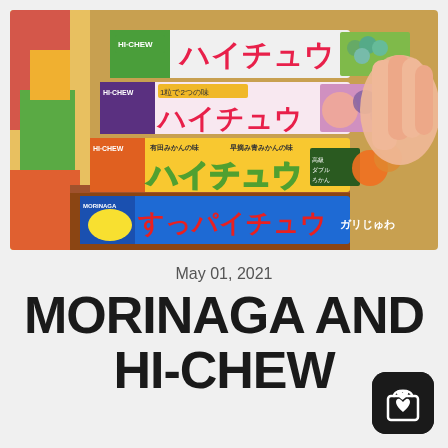[Figure (photo): A hand holding a stack of Hi-Chew (ハイチュウ) candy packages from Morinaga, showing various Japanese fruit flavors including grape, peach, mandarin orange, and sour variants (すっパイチュウ). Bright colorful packaging with Japanese text.]
May 01, 2021
MORINAGA AND HI-CHEW
[Figure (illustration): Shopping bag icon with heart, white on black rounded square background]